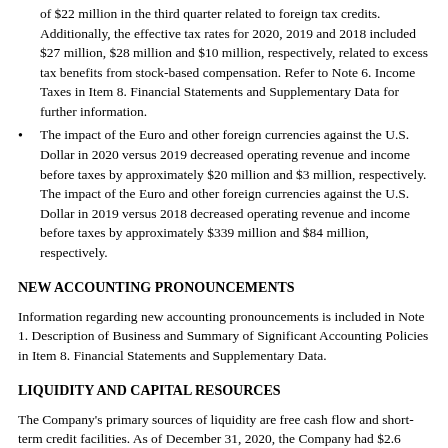of $22 million in the third quarter related to foreign tax credits. Additionally, the effective tax rates for 2020, 2019 and 2018 included $27 million, $28 million and $10 million, respectively, related to excess tax benefits from stock-based compensation. Refer to Note 6. Income Taxes in Item 8. Financial Statements and Supplementary Data for further information.
The impact of the Euro and other foreign currencies against the U.S. Dollar in 2020 versus 2019 decreased operating revenue and income before taxes by approximately $20 million and $3 million, respectively. The impact of the Euro and other foreign currencies against the U.S. Dollar in 2019 versus 2018 decreased operating revenue and income before taxes by approximately $339 million and $84 million, respectively.
NEW ACCOUNTING PRONOUNCEMENTS
Information regarding new accounting pronouncements is included in Note 1. Description of Business and Summary of Significant Accounting Policies in Item 8. Financial Statements and Supplementary Data.
LIQUIDITY AND CAPITAL RESOURCES
The Company's primary sources of liquidity are free cash flow and short-term credit facilities. As of December 31, 2020, the Company had $2.6 billion of cash and equivalents on hand, no outstanding borrowings under its $2.5 billion revolving credit facility, and no commercial paper outstanding. The Company also has maintained strong access to public debt markets. Management believes that the company has sufficient resources to address the Company's